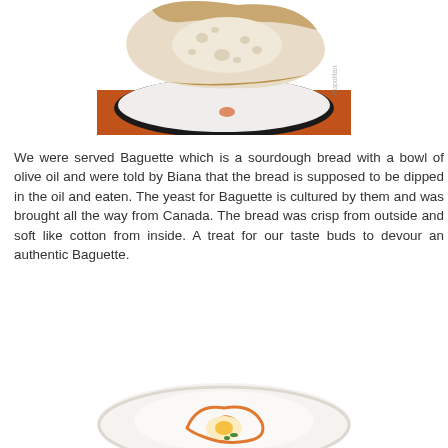[Figure (photo): A slice of baguette sourdough bread on a white plate with black rim, placed on an orange surface. Small orange crumb visible on plate. Watermark text visible on right side.]
We were served Baguette which is a sourdough bread with a bowl of olive oil and were told by Biana that the bread is supposed to be dipped in the oil and eaten. The yeast for Baguette is cultured by them and was brought all the way from Canada. The bread was crisp from outside and soft like cotton from inside. A treat for our taste buds to devour an authentic Baguette.
[Figure (photo): A white plate with a food dish featuring orange sauce drizzled in a swirl pattern, with what appears to be an egg and green garnish in the center.]